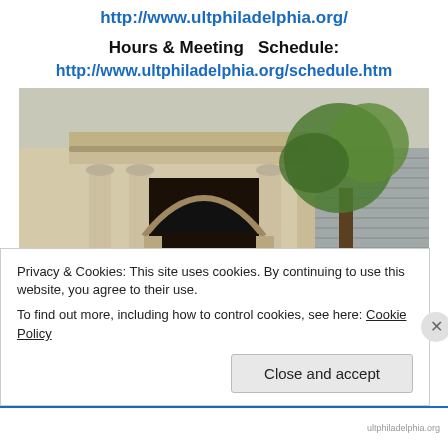http://www.ultphiladelphia.org/
Hours & Meeting  Schedule:
http://www.ultphiladelphia.org/schedule.htm
[Figure (photo): Exterior photograph of a classical stone building with ornate arched entrance. A sign on the building reads 'The United Lodge of Theosophists'. A tree is visible in front.]
Privacy & Cookies: This site uses cookies. By continuing to use this website, you agree to their use.
To find out more, including how to control cookies, see here: Cookie Policy
Close and accept